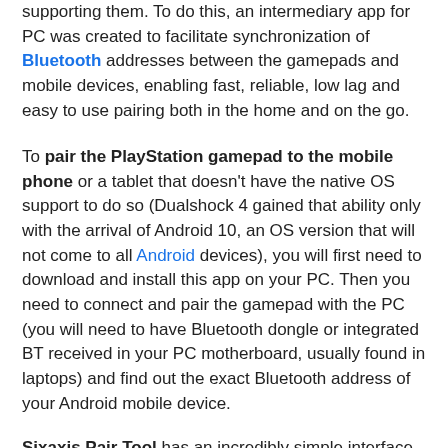supporting them. To do this, an intermediary app for PC was created to facilitate synchronization of Bluetooth addresses between the gamepads and mobile devices, enabling fast, reliable, low lag and easy to use pairing both in the home and on the go.
To pair the PlayStation gamepad to the mobile phone or a tablet that doesn't have the native OS support to do so (Dualshock 4 gained that ability only with the arrival of Android 10, an OS version that will not come to all Android devices), you will first need to download and install this app on your PC. Then you need to connect and pair the gamepad with the PC (you will need to have Bluetooth dongle or integrated BT received in your PC motherboard, usually found in laptops) and find out the exact Bluetooth address of your Android mobile device.
Sixaxis Pair Tool has an incredibly simple interface that